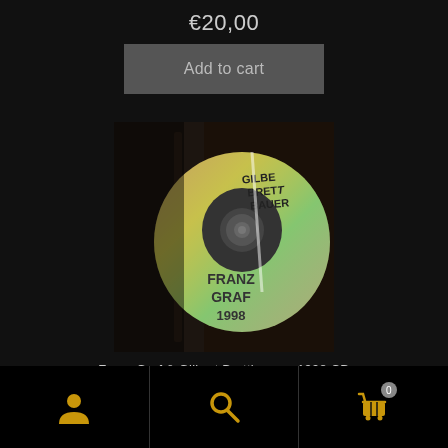€20,00
Add to cart
[Figure (photo): A CD disc partially out of its case, labeled GILBERT BRETTBAUER FRANZ GRAF 1998, with a reflective rainbow sheen on the disc surface. The background is dark.]
Franz Graf & Gilbert Brettbauer - 1998 CD
[Figure (infographic): Bottom navigation bar with three icons: user/profile icon, search icon, and shopping cart icon with badge showing 0]